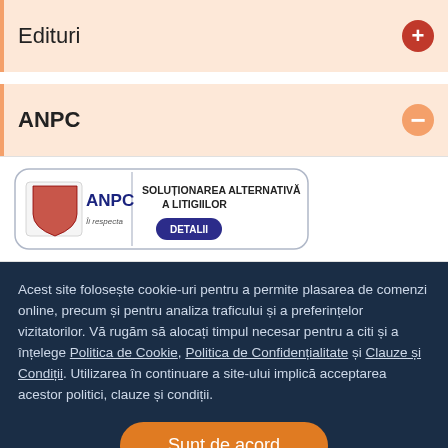Edituri
ANPC
[Figure (logo): ANPC logo with text: SOLUȚIONAREA ALTERNATIVĂ A LITIGIILOR and a DETALII button]
Acest site folosește cookie-uri pentru a permite plasarea de comenzi online, precum și pentru analiza traficului și a preferințelor vizitatorilor. Vă rugăm să alocați timpul necesar pentru a citi și a înțelege Politica de Cookie, Politica de Confidențialitate și Clauze și Condiții. Utilizarea în continuare a site-ului implică acceptarea acestor politici, clauze și condiții.
Sunt de acord